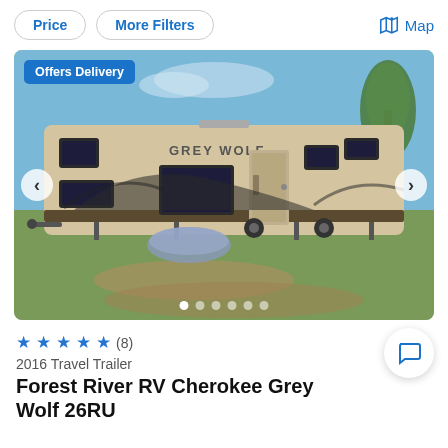Price | More Filters | Map
[Figure (photo): Outdoor photo of a 2016 Forest River RV Cherokee Grey Wolf travel trailer parked on grass. White and tan exterior with dark swoosh graphics and 'GREY WOLF' lettering. Blue sky background with a tree on the right. A covered object sits beneath the trailer. 'Offers Delivery' badge in top-left corner. Navigation arrows on left and right sides. Six dot indicators at the bottom.]
★★★★★ (8)
2016 Travel Trailer
Forest River RV Cherokee Grey Wolf 26RU